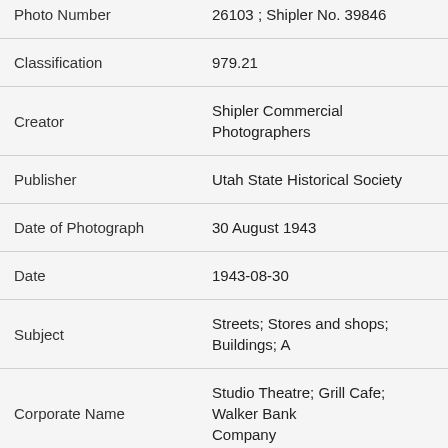| Field | Value |
| --- | --- |
| Photo Number | 26103 ; Shipler No. 39846 |
| Classification | 979.21 |
| Creator | Shipler Commercial Photographers |
| Publisher | Utah State Historical Society |
| Date of Photograph | 30 August 1943 |
| Date | 1943-08-30 |
| Subject | Streets; Stores and shops; Buildings; A |
| Corporate Name | Studio Theatre; Grill Cafe; Walker Bank Company |
| Spatial Coverage | Salt Lake City; Salt Lake County; Utah |